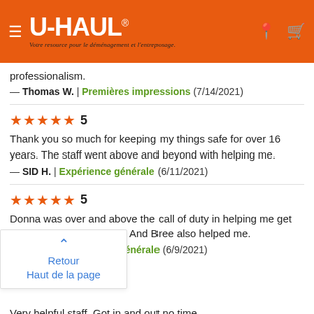[Figure (logo): U-Haul logo on orange header bar with hamburger menu icon on left and location pin and cart icons on right. Subtitle reads: Votre resource pour le déménagement et l'entreposage.]
professionalism.
— Thomas W. | Premières impressions (7/14/2021)
★★★★★ 5
Thank you so much for keeping my things safe for over 16 years. The staff went above and beyond with helping me.
— SID H. | Expérience générale (6/11/2021)
★★★★★ 5
Donna was over and above the call of duty in helping me get everything out of my unit. And Bree also helped me.
— iuliet a. | Expérience générale (6/9/2021)
Retour
Haut de la page
Very helpful staff. Got in and out no time.